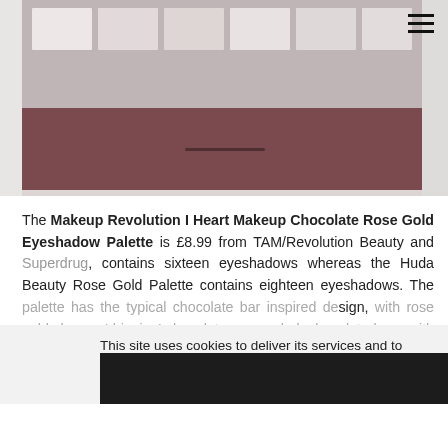[Figure (photo): Photo of a Makeup Revolution I Heart Makeup Chocolate Rose Gold Eyeshadow Palette with pale pink and mauve shadow swatches in a dark chocolate-brown case, on a marble surface. A hamburger menu icon (three horizontal lines) is visible in the upper right corner.]
The Makeup Revolution I Heart Makeup Chocolate Rose Gold Eyeshadow Palette is £8.99 from TAM/Revolution Beauty and Superdrug, contains sixteen eyeshadows whereas the Huda Beauty Rose Gold Palette contains eighteen eyeshadows. The palette has the typical chocolate bar inspired design, with rose gold chrome 'dripping' chocolate over a dark chocolate base with the usual mirror in the lid and a dual ended sponge tip applicator.
This site uses cookies to deliver its services and to analyse traffic. By using this site, you agree to its use of cookies. Learn more
OK